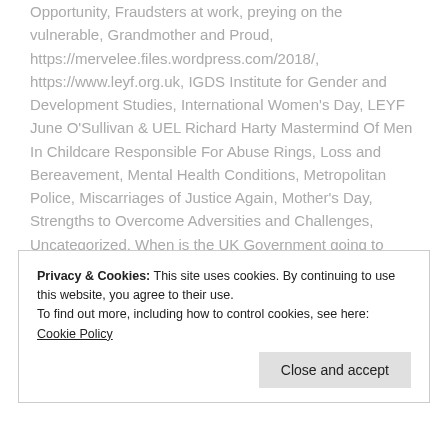Opportunity, Fraudsters at work, preying on the vulnerable, Grandmother and Proud, https://mervelee.files.wordpress.com/2018/, https://www.leyf.org.uk, IGDS Institute for Gender and Development Studies, International Women's Day, LEYF June O'Sullivan & UEL Richard Harty Mastermind Of Men In Childcare Responsible For Abuse Rings, Loss and Bereavement, Mental Health Conditions, Metropolitan Police, Miscarriages of Justice Again, Mother's Day, Strengths to Overcome Adversities and Challenges, Uncategorized, When is the UK Government going to act?, www.cardboardcitizens.org.uk, www.equalityhumanrights.com,
Privacy & Cookies: This site uses cookies. By continuing to use this website, you agree to their use.
To find out more, including how to control cookies, see here: Cookie Policy
Close and accept